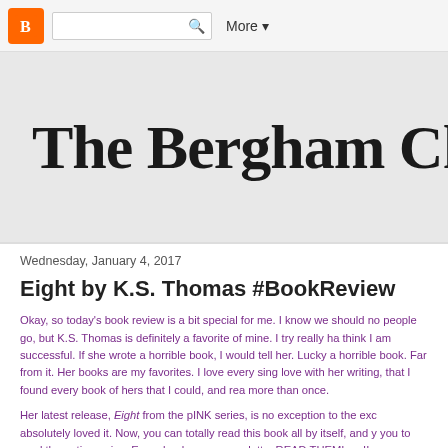Blogger navigation bar with search box and More button
The Bergham Chronicles
Wednesday, January 4, 2017
Eight by K.S. Thomas #BookReview
Okay, so today's book review is a bit special for me. I know we should not let people go, but K.S. Thomas is definitely a favorite of mine. I try really hard, and I think I am successful. If she wrote a horrible book, I would tell her. Lucky she has not written a horrible book. Far from it. Her books are my favorites. I love every single one. I fell so in love with her writing, that I found every book of hers that I could, and read them all. Some more than once.
Her latest release, Eight from the pINK series, is no exception to the excellence. I absolutely loved it. Now, you can totally read this book all by itself, and you would enjoy it, but I urge you to read the entire series. Every book, every novelette. READ THEM!! You can thank me!!
In Eight, we learn the story about Memphis and Riot. We learn the reason...